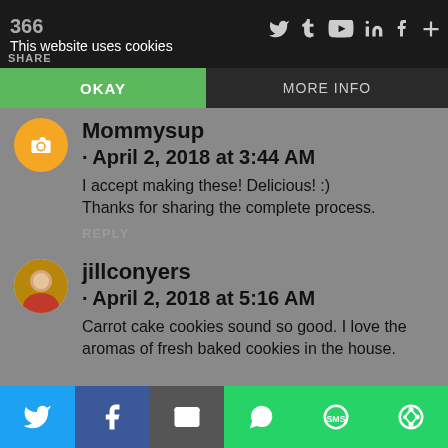366 This website uses cookies | SHARE
OKAY | MORE INFO
Mommysup · April 2, 2018 at 3:44 AM
I accept making these! Delicious! :) Thanks for sharing the complete process.
REPLY
jillconyers · April 2, 2018 at 5:16 AM
Carrot cake cookies sound so good. I love the aromas of fresh baked cookies in the house.
Twitter | Facebook | Email | WhatsApp | SMS | Other